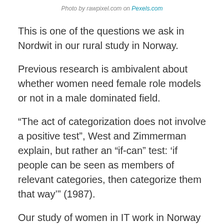Photo by rawpixel.com on Pexels.com
This is one of the questions we ask in Nordwit in our rural study in Norway.
Previous research is ambivalent about whether women need female role models or not in a male dominated field.
“The act of categorization does not involve a positive test”, West and Zimmerman explain, but rather an “if-can” test: ‘if people can be seen as members of relevant categories, then categorize them that way’” (1987).
Our study of women in IT work in Norway has documented that having female role models